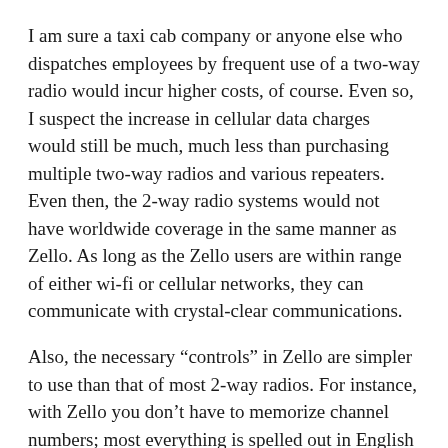I am sure a taxi cab company or anyone else who dispatches employees by frequent use of a two-way radio would incur higher costs, of course. Even so, I suspect the increase in cellular data charges would still be much, much less than purchasing multiple two-way radios and various repeaters. Even then, the 2-way radio systems would not have worldwide coverage in the same manner as Zello. As long as the Zello users are within range of either wi-fi or cellular networks, they can communicate with crystal-clear communications.
Also, the necessary “controls” in Zello are simpler to use than that of most 2-way radios. For instance, with Zello you don’t have to memorize channel numbers; most everything is spelled out in English or, optionally, in any of several other languages.
More than 20 million people around the world are